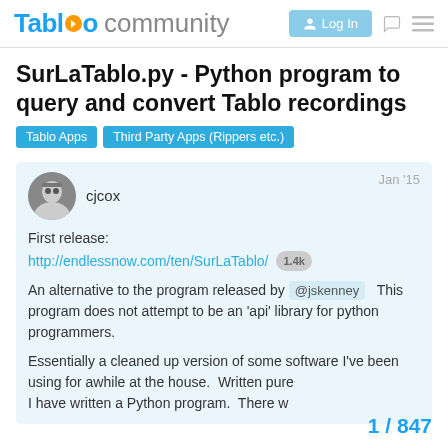Tablo community  Log In
SurLaTablo.py - Python program to query and convert Tablo recordings
Tablo Apps  Third Party Apps (Rippers etc.)
cjcox  Jan '15
First release:
http://endlessnow.com/ten/SurLaTablo/  1.4k
An alternative to the program released by @jskenney  This program does not attempt to be an 'api' library for python programmers.
Essentially a cleaned up version of some software I've been using for awhile at the house.  Written pure  I have written a Python program.  There w
1 / 847